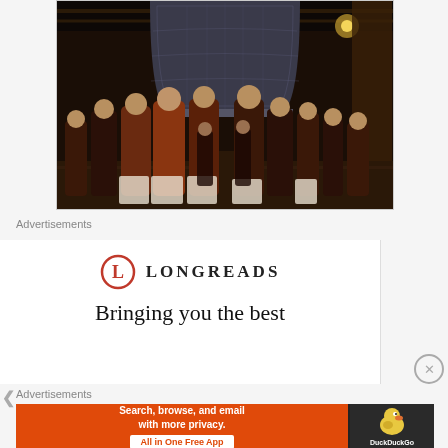[Figure (photo): Buddhist monks in dark robes standing before a large bronze temple bell, viewed from behind, in a dimly lit temple interior]
Advertisements
[Figure (logo): Longreads logo: red circle with letter L followed by LONGREADS in bold serif capitals]
Bringing you the best
Advertisements
[Figure (screenshot): DuckDuckGo advertisement banner: orange left panel reading 'Search, browse, and email with more privacy. All in One Free App' and dark right panel with DuckDuckGo duck logo and name]